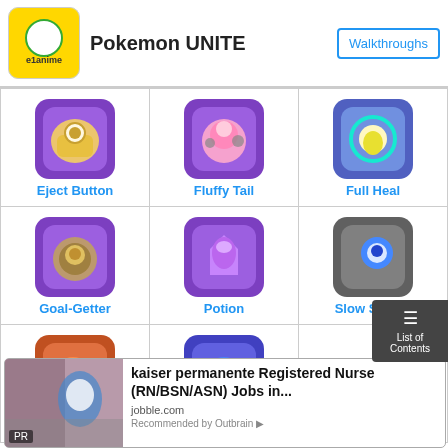Pokemon UNITE | Walkthroughs
| Item | Item | Item |
| --- | --- | --- |
| Eject Button | Fluffy Tail | Full Heal |
| Goal-Getter | Potion | Slow Smoke |
| X Attack | X Speed |  |
[Figure (screenshot): Advertisement: kaiser permanente Registered Nurse (RN/BSN/ASN) Jobs in... from jobble.com, Recommended by Outbrain]